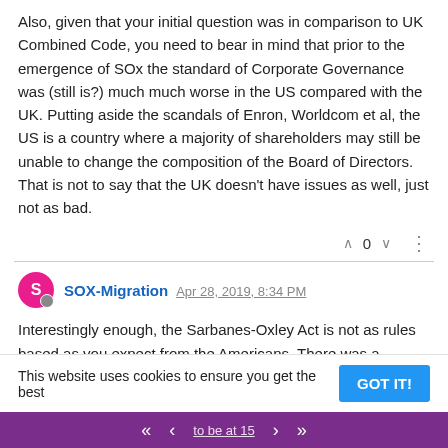Also, given that your initial question was in comparison to UK Combined Code, you need to bear in mind that prior to the emergence of SOx the standard of Corporate Governance was (still is?) much much worse in the US compared with the UK. Putting aside the scandals of Enron, Worldcom et al, the US is a country where a majority of shareholders may still be unable to change the composition of the Board of Directors. That is not to say that the UK doesn't have issues as well, just not as bad.
SOX-Migration Apr 28, 2019, 8:34 PM
Interestingly enough, the Sarbanes-Oxley Act is not as rules based as you expect from the Americans. There was a recognition that 'checklist auditing' was not the way to go (in fact that was potentially a major... This website uses cookies to ensure you get the best... couldn't... rating in the past: is a still completely. A 'checklist couldn't...